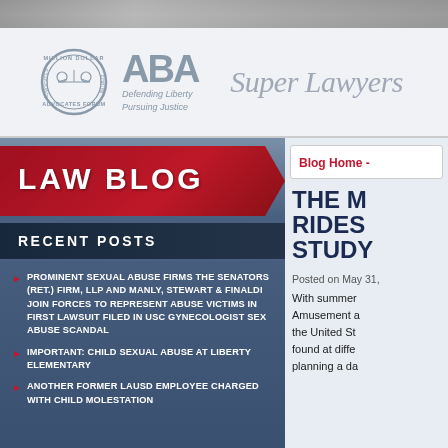[Figure (photo): Top photo strip showing a partial photograph at the top of the page]
[Figure (logo): Logo bar showing Million Dollar Advocates Forum seal, ABA Defending Liberty Pursuing Justice logo, and Super Lawyers logo]
LAW BLOG
RECENT POSTS
PROMINENT SEXUAL ABUSE FIRMS THE SENATORS (RET.) FIRM, LLP AND MANLY, STEWART & FINALDI JOIN FORCES TO REPRESENT ABUSE VICTIMS IN FIRST LAWSUIT FILED IN USC GYNECOLOGIST SEX ABUSE SCANDAL
IMPORTANT: CHILD SEXUAL ABUSE AT LIBERTY ELEMENTARY
ANOTHER FORMER LAUSD EMPLOYEE CHARGED WITH CHILD MOLESTATION
Blog Home -
THE M RIDES STUDY
Posted on May 31,
With summer Amusement a the United St found at diffe planning a da